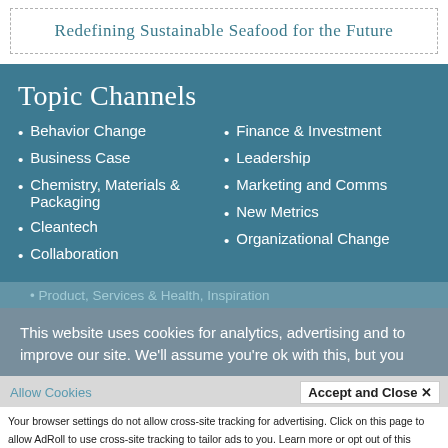Redefining Sustainable Seafood for the Future
Topic Channels
Behavior Change
Business Case
Chemistry, Materials & Packaging
Cleantech
Collaboration
Finance & Investment
Leadership
Marketing and Comms
New Metrics
Organizational Change
Product, Services & Health, Inspiration
This website uses cookies for analytics, advertising and to improve our site. We'll assume you're ok with this, but you
Allow Cookies   Accept and Close ✕
Your browser settings do not allow cross-site tracking for advertising. Click on this page to allow AdRoll to use cross-site tracking to tailor ads to you. Learn more or opt out of this AdRoll tracking by clicking here. This message only appears once.